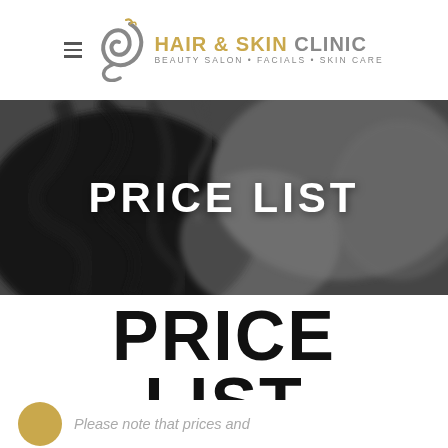HAIR & SKIN CLINIC — BEAUTY SALON • FACIALS • SKIN CARE
[Figure (photo): Black and white motion-blurred photo of a woman with flowing hair used as a hero banner background, with white bold text 'PRICE LIST' overlaid in the center]
PRICE LIST
Please note that prices and availability are subject to